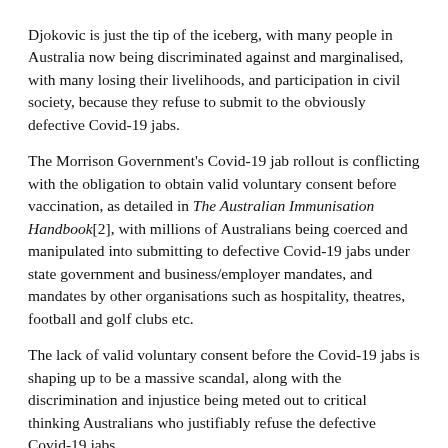Djokovic is just the tip of the iceberg, with many people in Australia now being discriminated against and marginalised, with many losing their livelihoods, and participation in civil society, because they refuse to submit to the obviously defective Covid-19 jabs.
The Morrison Government's Covid-19 jab rollout is conflicting with the obligation to obtain valid voluntary consent before vaccination, as detailed in The Australian Immunisation Handbook[2], with millions of Australians being coerced and manipulated into submitting to defective Covid-19 jabs under state government and business/employer mandates, and mandates by other organisations such as hospitality, theatres, football and golf clubs etc.
The lack of valid voluntary consent before the Covid-19 jabs is shaping up to be a massive scandal, along with the discrimination and injustice being meted out to critical thinking Australians who justifiably refuse the defective Covid-19 jabs.
1. Djokovic v Minister for Immigration, Citizenship, Migrant Services and Multicultural Affairs.